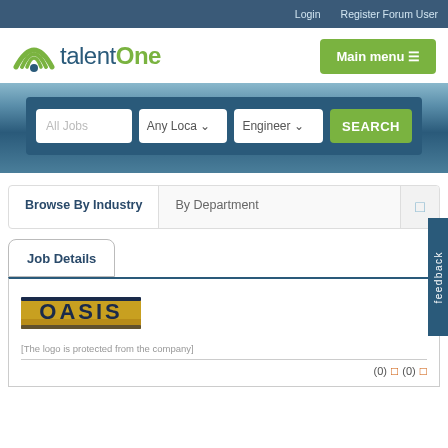Login   Register Forum User
[Figure (logo): talentOne logo with green arc icon and teal/green text]
Main menu
All Jobs   Any Location   Engineering
SEARCH
Browse By Industry   By Department
Job Details
[Figure (logo): OASIS company logo — gold and navy text on gold/dark background stripe]
[The logo is protected from the company]
(0) (0)